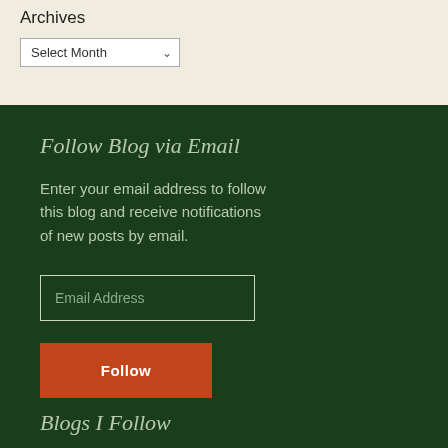Archives
Select Month
Follow Blog via Email
Enter your email address to follow this blog and receive notifications of new posts by email.
Email Address
Follow
Blogs I Follow